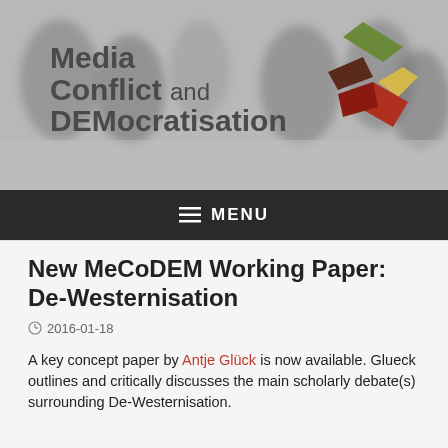[Figure (logo): Media Conflict and DEMocratisation logo with coloured geometric emblem on blurred crowd photo background]
≡ MENU
New MeCoDEM Working Paper: De-Westernisation
2016-01-18
A key concept paper by Antje Glück is now available. Glueck outlines and critically discusses the main scholarly debate(s) surrounding De-Westernisation.